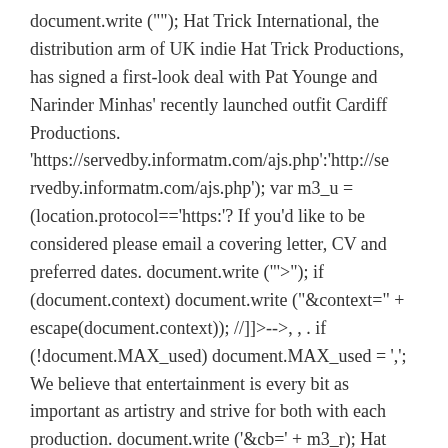document.write (""); Hat Trick International, the distribution arm of UK indie Hat Trick Productions, has signed a first-look deal with Pat Younge and Narinder Minhas' recently launched outfit Cardiff Productions. 'https://servedby.informatm.com/ajs.php':'http://servedby.informatm.com/ajs.php'); var m3_u = (location.protocol=='https:'? If you'd like to be considered please email a covering letter, CV and preferred dates. document.write ("'>"); if (document.context) document.write ("&context=" + escape(document.context)); //]]>-->, , . if (!document.MAX_used) document.MAX_used = ','; We believe that entertainment is every bit as important as artistry and strive for both with each production. document.write ('&cb=' + m3_r); Hat Trick Productions | 252 abonnés sur LinkedIn |